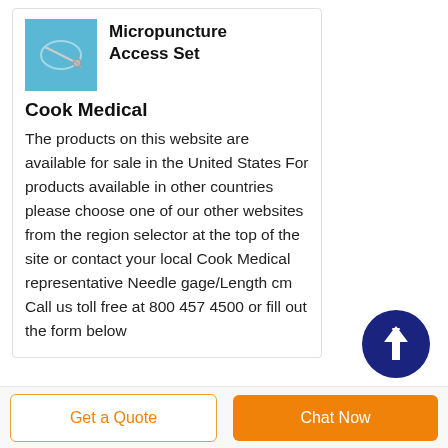[Figure (photo): Small product photo of micropuncture access set on blue background]
Micropuncture Access Set
Cook Medical
The products on this website are available for sale in the United States For products available in other countries please choose one of our other websites from the region selector at the top of the site or contact your local Cook Medical representative Needle gage/Length cm Call us toll free at 800 457 4500 or fill out the form below
[Figure (illustration): Dark blue circular scroll-to-top button with upward arrow icon]
Get a Quote
Chat Now